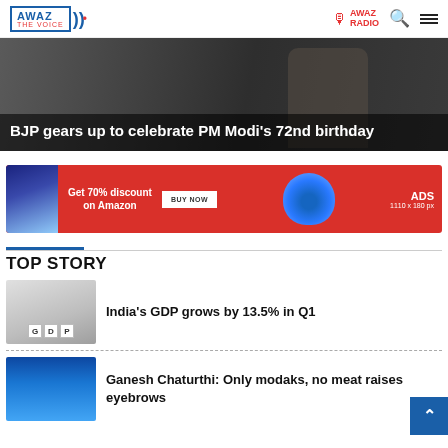AWAZ THE VOICE — AWAZ RADIO
[Figure (photo): Hero image: BJP gears up to celebrate PM Modi's 72nd birthday — dark background with partial figure visible]
BJP gears up to celebrate PM Modi's 72nd birthday
[Figure (illustration): Advertisement banner: red background with phone and headphones. Text: Get 70% discount on Amazon. Button: BUY NOW. ADS 1110 x 180 px]
TOP STORY
[Figure (photo): Thumbnail image of hands placing GDP letter tiles on a surface]
India's GDP grows by 13.5% in Q1
[Figure (illustration): Thumbnail image of Ganesh Chaturthi illustration — blue deity figure]
Ganesh Chaturthi: Only modaks, no meat raises eyebrows